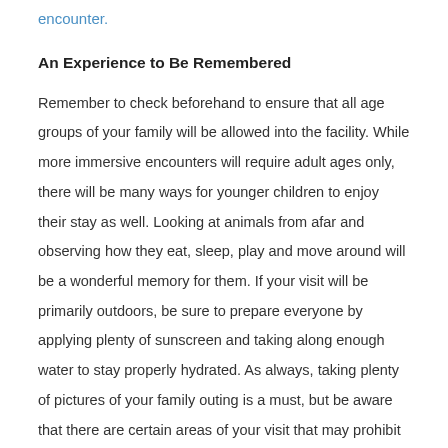encounter.
An Experience to Be Remembered
Remember to check beforehand to ensure that all age groups of your family will be allowed into the facility. While more immersive encounters will require adult ages only, there will be many ways for younger children to enjoy their stay as well. Looking at animals from afar and observing how they eat, sleep, play and move around will be a wonderful memory for them. If your visit will be primarily outdoors, be sure to prepare everyone by applying plenty of sunscreen and taking along enough water to stay properly hydrated. As always, taking plenty of pictures of your family outing is a must, but be aware that there are certain areas of your visit that may prohibit flash photography.